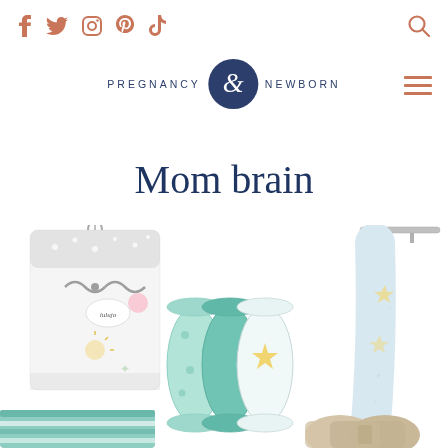Pregnancy & Newborn — social icons, search, logo, navigation
Mom brain
[Figure (photo): Collection of baby muslin swaddle blankets. Left: packaged Lulujo brand swaddles with gray bow, polka dot pattern and sunshine motif. Center: three rolled muslin blankets in mint/teal and white with stars. Right: a muslin swaddle blanket hanging on a rack with star pattern. Bottom left corner: folded mint and white striped blanket. Bottom center: rolled beige/tan colored fabric items.]